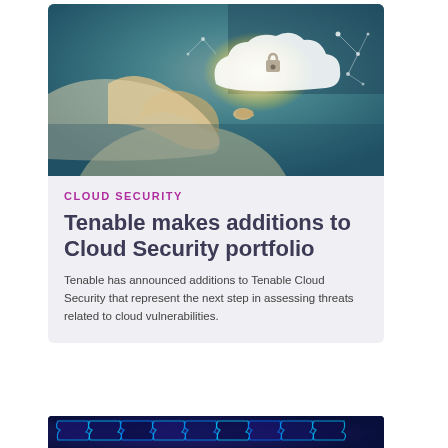[Figure (photo): Person holding a glowing cloud icon with network connections, cybersecurity themed photo with teal/blue background]
CLOUD SECURITY
Tenable makes additions to Cloud Security portfolio
Tenable has announced additions to Tenable Cloud Security that represent the next step in assessing threats related to cloud vulnerabilities.
[Figure (photo): Abstract digital puzzle pieces with neon blue outlines on dark background, cybersecurity themed]